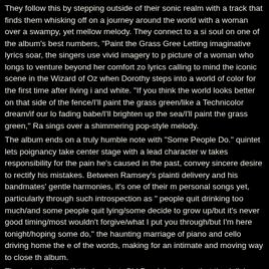They follow this by stepping outside of their sonic realm with a track that finds them whisking off on a journey around the world with a woman over a swampy, yet mellow melody. They connect to a soulful soul on one of the album's best numbers, "Paint the Grass Green." Letting imaginative lyrics soar, the singers use vivid imagery to paint a picture of a woman who longs to venture beyond her comfort zone, lyrics calling to mind the iconic scene in the Wizard of Oz when Dorothy steps into a world of color for the first time after living in black and white. "If you think the world looks better on that side of the fence/I'll paint the grass green/like a Technicolor dream/if our love is fading babe/I'll brighten up the sea/I'll paint the grass green," Ramsey sings over a shimmering pop-style melody.
The album ends on a truly humble note with "Some People Do." The quintet lets poignancy take center stage with a lead character who takes responsibility for the pain he's caused in the past, conveying a sincere desire to rectify his mistakes. Between Ramsey's plaintive delivery and his bandmates' gentle harmonies, it's one of their most personal songs yet, particularly through such introspection as "some people quit drinking too much/and some people quit lying/some people decide to grow up/but it's never good timing/most wouldn't forgive/what I put you through/but I'm here tonight/hoping some people do," the haunting marriage of piano and cello driving home the emotion of the words, making for an intimate and moving way to close the album.
Throughout the self-titled project, Old Dominion show that they're diving beneath the surface to a more reflective place, relying as much on thought-provoking subjects matters as clever lyrics to tell their story – a combination that draws fans to their distinct sound and bright future. (John Balsom / Sound like Nashville)
Das komplette Tracklisting:
1. Make It Sweet • 3:06